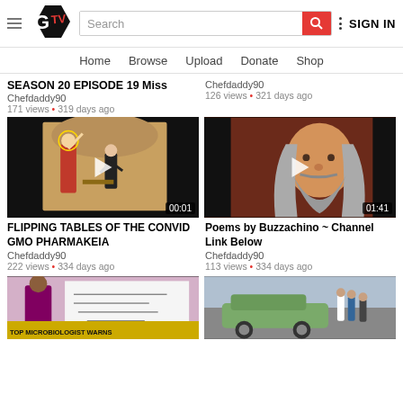GTV — Search bar — SIGN IN
Home  Browse  Upload  Donate  Shop
SEASON 20 EPISODE 19 Miss
Chefdaddy90
171 views • 319 days ago
Chefdaddy90
126 views • 321 days ago
[Figure (screenshot): Video thumbnail: painting of Jesus flipping tables, man in suit fleeing. Duration 00:01]
[Figure (screenshot): Video thumbnail: elderly man with long gray beard. Duration 01:41]
FLIPPING TABLES OF THE CONVID GMO PHARMAKEIA
Chefdaddy90
222 views • 334 days ago
Poems by Buzzachino ~ Channel Link Below
Chefdaddy90
113 views • 334 days ago
[Figure (screenshot): Video thumbnail: Dr. Sucharit Bhakdi with text overlay]
[Figure (screenshot): Video thumbnail: vintage car scene with people]